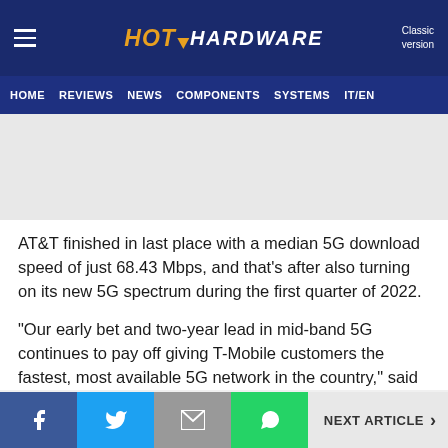HotHardware — Classic version
HOME | REVIEWS | NEWS | COMPONENTS | SYSTEMS | IT/EN
AT&T finished in last place with a median 5G download speed of just 68.43 Mbps, and that's after also turning on its new 5G spectrum during the first quarter of 2022.
"Our early bet and two-year lead in mid-band 5G continues to pay off giving T-Mobile customers the fastest, most available 5G network in the country," said
NEXT ARTICLE >